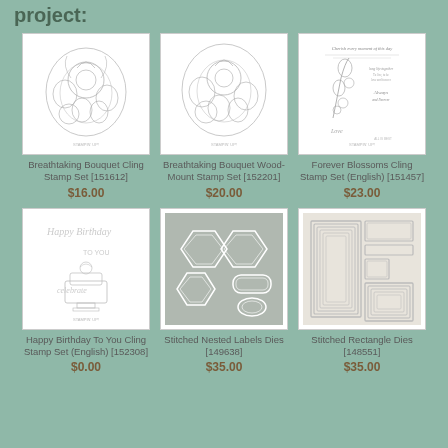project:
[Figure (illustration): Breathtaking Bouquet Cling Stamp Set product image showing floral cling stamp]
Breathtaking Bouquet Cling Stamp Set [151612]
$16.00
[Figure (illustration): Breathtaking Bouquet Wood-Mount Stamp Set product image showing floral wood mount stamp]
Breathtaking Bouquet Wood-Mount Stamp Set [152201]
$20.00
[Figure (illustration): Forever Blossoms Cling Stamp Set (English) product image showing floral stamp set with sentiments]
Forever Blossoms Cling Stamp Set (English) [151457]
$23.00
[Figure (illustration): Happy Birthday To You Cling Stamp Set (English) product image showing birthday cake stamp]
Happy Birthday To You Cling Stamp Set (English) [152308]
$0.00
[Figure (illustration): Stitched Nested Labels Dies product image showing hexagon die shapes on grey background]
Stitched Nested Labels Dies [149638]
$35.00
[Figure (illustration): Stitched Rectangle Dies product image showing nested rectangle die shapes on cream background]
Stitched Rectangle Dies [148551]
$35.00